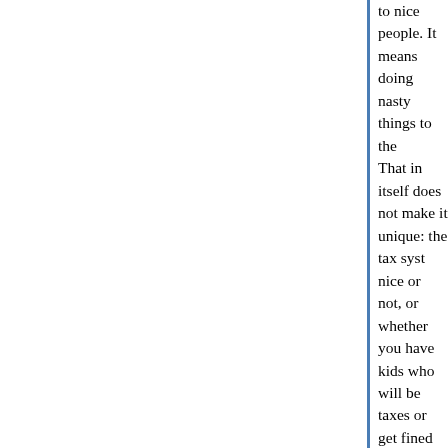to nice people. It means doing nasty things to the... That in itself does not make it unique: the tax syst... nice or not, or whether you have kids who will be... taxes or get fined or go to jail.
Now there are all kinds of nasty things you can do... for the person you're doing them to, and different... everybody's civil rights. Arrest & deportation is the... the most prone to error; at practical levels of enfo... no more than a tiny fraction of illegal immigrants.... someone is here legally, you need to demand ide... threaten arrest if they don't comply - so it has maj... side. This is the Arizona method.
A different nasty thing is to prevent access to pub... problematic with families that have a mixture of n... children, and similarly so at ERs. It's actually very... including the government, to determine whether s... is the person they claim to be.
And it's the difficulties with actually doing those ki... that they don't really get done. They're not very et... hurt citizens, they damage civil rights, and when y... could make a difference you find yourself running...